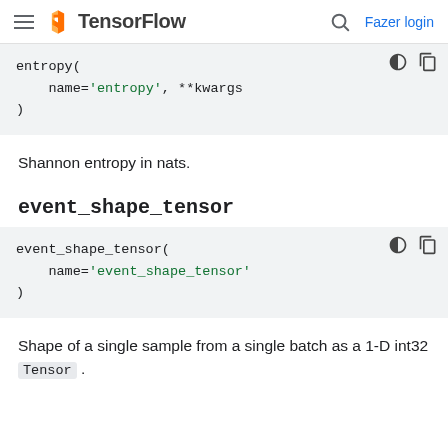TensorFlow | Fazer login
entropy(
    name='entropy', **kwargs
)
Shannon entropy in nats.
event_shape_tensor
event_shape_tensor(
    name='event_shape_tensor'
)
Shape of a single sample from a single batch as a 1-D int32 Tensor.